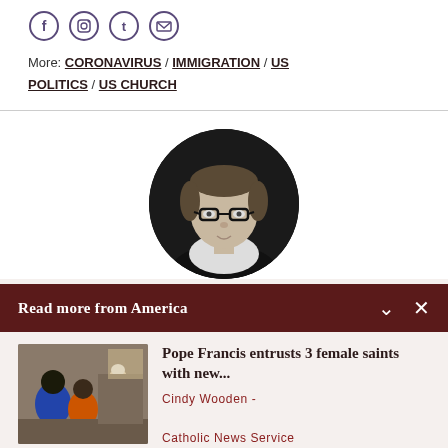[Figure (other): Social media icon buttons (Facebook, Instagram, Twitter/other, Email) as circular outline icons in purple/dark tones]
More: CORONAVIRUS / IMMIGRATION / US POLITICS / US CHURCH
[Figure (photo): Black and white circular portrait photo of a man with glasses and medium-length hair, smiling slightly]
Read more from America
[Figure (photo): Color photo thumbnail showing Pope Francis meeting with a group of people in a room]
Pope Francis entrusts 3 female saints with new...
Cindy Wooden - Catholic News Service